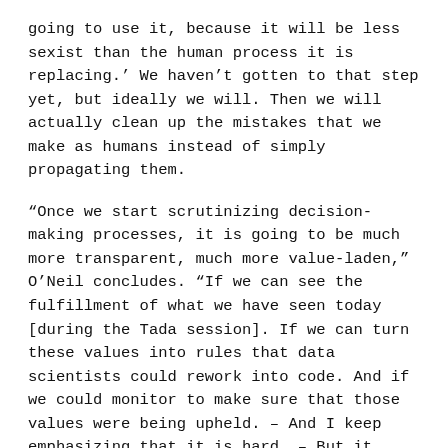going to use it, because it will be less sexist than the human process it is replacing.' We haven't gotten to that step yet, but ideally we will. Then we will actually clean up the mistakes that we make as humans instead of simply propagating them.
“Once we start scrutinizing decision-making processes, it is going to be much more transparent, much more value-laden,” O’Neil concludes. “If we can see the fulfillment of what we have seen today [during the Tada session]. If we can turn these values into rules that data scientists could rework into code. And if we could monitor to make sure that those values were being upheld. – And I keep emphasizing that it is hard. – But it would be very exciting if we could actually discuss implementing those values into algorithms, pro-actively. That is the best we can hope for: that the algorithms reflect our values.”